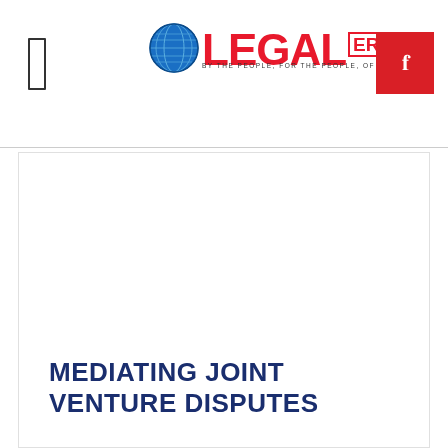LEGAL ERA — BY THE PEOPLE, FOR THE PEOPLE, OF THE PEOPLE
[Figure (illustration): Large white content area representing an article image placeholder]
MEDIATING JOINT VENTURE DISPUTES